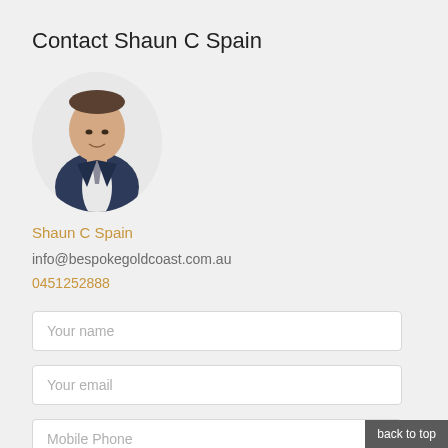Contact Shaun C Spain
[Figure (photo): Circular profile photo of Shaun C Spain, a man in a navy suit with white shirt, against a white background]
Shaun C Spain
info@bespokegoldcoast.com.au
0451252888
Your name
Your email
Mobile Phone
back to top